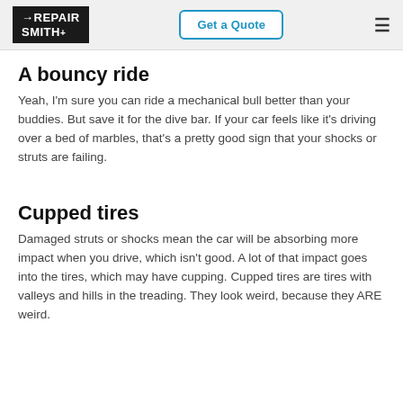RepairSmith | Get a Quote | Menu
A bouncy ride
Yeah, I'm sure you can ride a mechanical bull better than your buddies. But save it for the dive bar. If your car feels like it's driving over a bed of marbles, that's a pretty good sign that your shocks or struts are failing.
Cupped tires
Damaged struts or shocks mean the car will be absorbing more impact when you drive, which isn't good. A lot of that impact goes into the tires, which may have cupping. Cupped tires are tires with valleys and hills in the treading. They look weird, because they ARE weird.